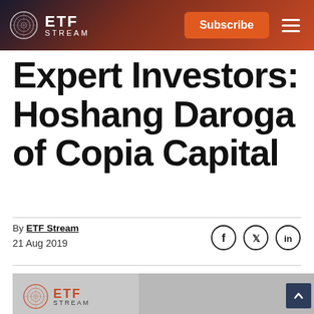ETF STREAM — Subscribe
Expert Investors: Hoshang Daroga of Copia Capital
By ETF Stream
21 Aug 2019
[Figure (photo): Photo of Hoshang Daroga with ETF Stream logo overlay on grey background]